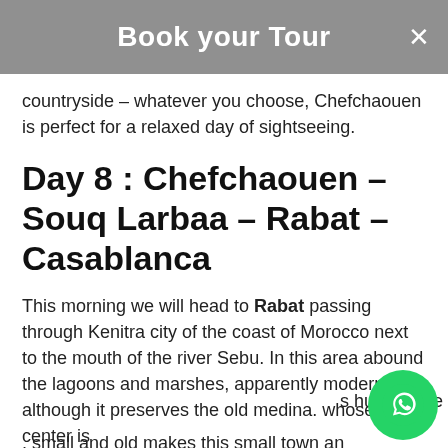Book your Tour
countryside – whatever you choose, Chefchaouen is perfect for a relaxed day of sightseeing.
Day 8 : Chefchaouen – Souq Larbaa – Rabat – Casablanca
This morning we will head to Rabat passing through Kenitra city of the coast of Morocco next to the mouth of the river Sebu. In this area abound the lagoons and marshes, apparently modern although it preserves the old medina. whose center is s humble me , small and old makes this small town an interesting place to visit. walking through